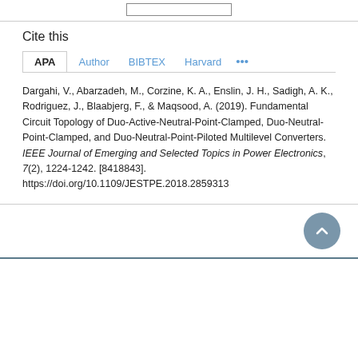Cite this
Dargahi, V., Abarzadeh, M., Corzine, K. A., Enslin, J. H., Sadigh, A. K., Rodriguez, J., Blaabjerg, F., & Maqsood, A. (2019). Fundamental Circuit Topology of Duo-Active-Neutral-Point-Clamped, Duo-Neutral-Point-Clamped, and Duo-Neutral-Point-Piloted Multilevel Converters. IEEE Journal of Emerging and Selected Topics in Power Electronics, 7(2), 1224-1242. [8418843]. https://doi.org/10.1109/JESTPE.2018.2859313